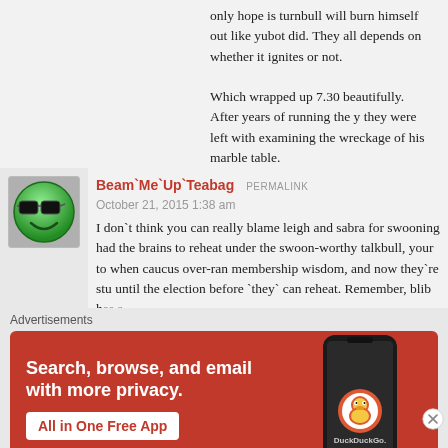only hope is turnbull will burn himself out like yubot did. They all depends on whether it ignites or not.

Which wrapped up 7.30 beautifully. After years of running the y they were left with examining the wreckage of his marble table.

muppets!
Beam`Me`Up`Teabag PERMALINK
October 21, 2015 1:38 am
I don`t think you can really blame leigh and sabra for swooning had the brains to reheat under the swoon-worthy talkbull, your to when caucus over-ran membership wisdom, and now they`re stu until the election before `they` can reheat. Remember, blib has a
Advertisements
[Figure (screenshot): DuckDuckGo advertisement banner with orange/red background showing 'Search, browse, and email with more privacy. All in One Free App' with a phone image and DuckDuckGo logo]